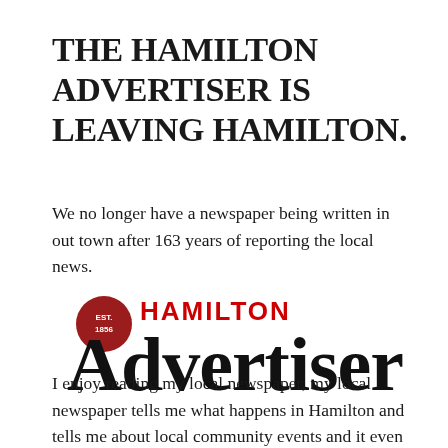THE HAMILTON ADVERTISER IS LEAVING HAMILTON.
We no longer have a newspaper being written in out town after 163 years of reporting the local news.
[Figure (logo): Hamilton Advertiser logo: large serif 'Advertiser' text in black with 'HAMILTON' in red above and a dark red circular badge with 'EST. 1856' on the left]
I enjoy reading my local newspaper, my local newspaper tells me what happens in Hamilton and tells me about local community events and it even does little things that gives a newspaper a personal